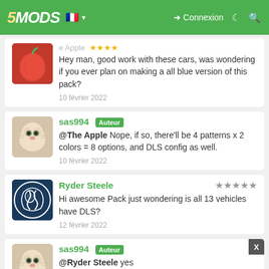5MODS — Connexion
Hey man, good work with these cars, was wondering if you ever plan on making a all blue version of this pack?
10 février 2022
sas994 Auteur
@The Apple Nope, if so, there'll be 4 patterns x 2 colors = 8 options, and DLS config as well.
10 février 2022
Ryder Steele
Hi awesome Pack just wondering is all 13 vehicles have DLS?
12 février 2022
sas994 Auteur
@Ryder Steele yes